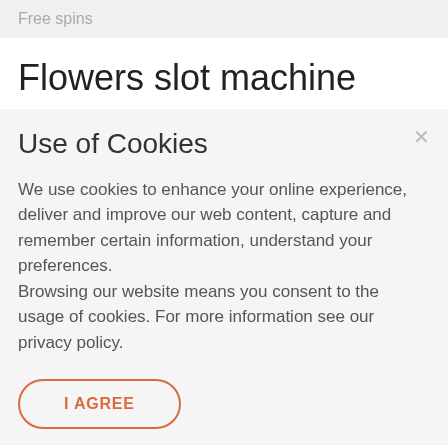Free spins
Flowers slot machine
Use of Cookies
We use cookies to enhance your online experience, deliver and improve our web content, capture and remember certain information, understand your preferences.
Browsing our website means you consent to the usage of cookies. For more information see our privacy policy.
I AGREE
The NetEnt specialists have equipped the machine with 30